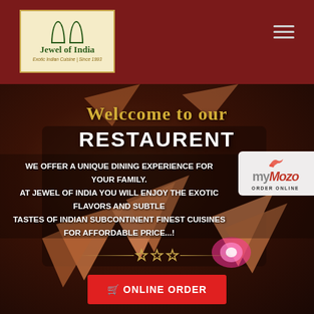[Figure (logo): Jewel of India restaurant logo with arch motif, cream/green colors, text 'Jewel of India' and 'Exotic Indian Cuisine | Since 1993']
[Figure (photo): Restaurant interior photo with dark wood tables set with folded orange/peach napkins, pink candle light, dark ambiance]
Welccome to our RESTAURENT
WE OFFER A UNIQUE DINING EXPERIENCE FOR YOUR FAMILY. AT JEWEL OF INDIA YOU WILL ENJOY THE EXOTIC FLAVORS AND SUBTLE TASTES OF INDIAN SUBCONTINENT FINEST CUISINES FOR AFFORDABLE PRICE...!
[Figure (logo): myMozo ORDER ONLINE badge/logo in white rounded rectangle]
[Figure (other): Three empty star outlines with decorative gold horizontal lines on each side]
ONLINE ORDER